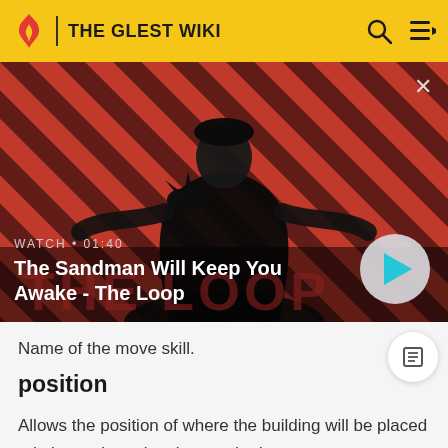THE GLEST WIKI
[Figure (screenshot): Video thumbnail showing a dark figure with a crow on shoulder against a red and dark diagonal striped background. Title reads 'The Sandman Will Keep You Awake - The Loop'. Watch timer shows 01:40.]
Name of the move skill.
position
Allows the position of where the building will be placed relative to the unit to be tweaked.